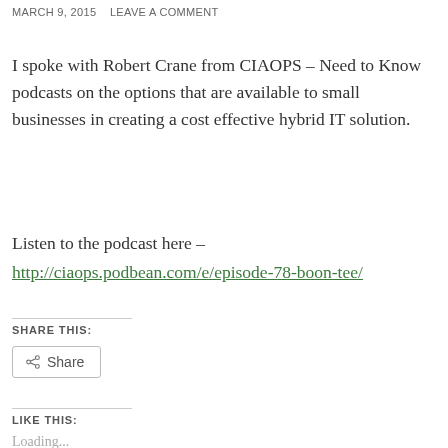MARCH 9, 2015   LEAVE A COMMENT
I spoke with Robert Crane from CIAOPS – Need to Know podcasts on the options that are available to small businesses in creating a cost effective hybrid IT solution.
Listen to the podcast here –
http://ciaops.podbean.com/e/episode-78-boon-tee/
SHARE THIS:
Share
LIKE THIS:
Loading...